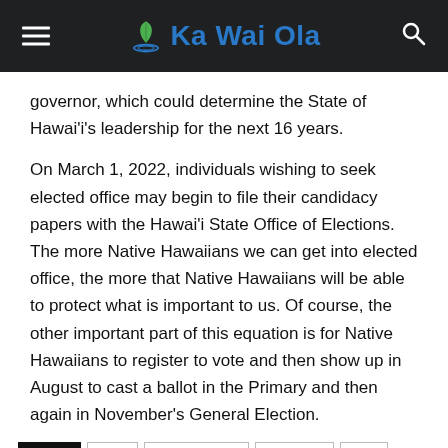Ka Wai Ola
governor, which could determine the State of Hawaiʻi’s leadership for the next 16 years.
On March 1, 2022, individuals wishing to seek elected office may begin to file their candidacy papers with the Hawaiʻi State Office of Elections. The more Native Hawaiians we can get into elected office, the more that Native Hawaiians will be able to protect what is important to us. Of course, the other important part of this equation is for Native Hawaiians to register to vote and then show up in August to cast a ballot in the Primary and then again in November’s General Election.
TAGS: Rail  Hawaii Island  Honolulu  law  office
island  county  housing  homeless  water